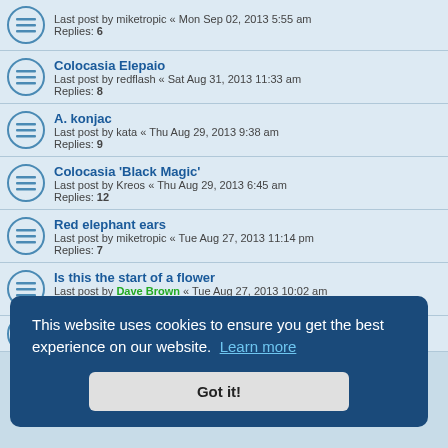Last post by miketropic « Mon Sep 02, 2013 5:55 am
Replies: 6
Colocasia Elepaio
Last post by redflash « Sat Aug 31, 2013 11:33 am
Replies: 8
A. konjac
Last post by kata « Thu Aug 29, 2013 9:38 am
Replies: 9
Colocasia 'Black Magic'
Last post by Kreos « Thu Aug 29, 2013 6:45 am
Replies: 12
Red elephant ears
Last post by miketropic « Tue Aug 27, 2013 11:14 pm
Replies: 7
Is this the start of a flower
Last post by Dave Brown « Tue Aug 27, 2013 10:02 am
Replies: 5
Dividing/Seperating Colocasias
This website uses cookies to ensure you get the best experience on our website. Learn more
Got it!